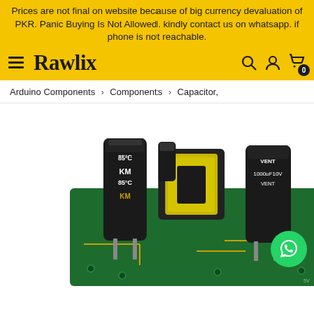Prices are not final on website because of big currency devaluation of PKR. Panic Buying Is Not Allowed. kindly contact us on whatsapp. if phone is not reachable.
Rawlix
Arduino Components > Components > Capacitor,
[Figure (photo): Close-up photo of an electronic PCB module with black electrolytic capacitors labeled KM 85°C, a yellow toroidal transformer/inductor, and other components soldered on a green circuit board. A green WhatsApp chat button is visible in the lower right corner.]